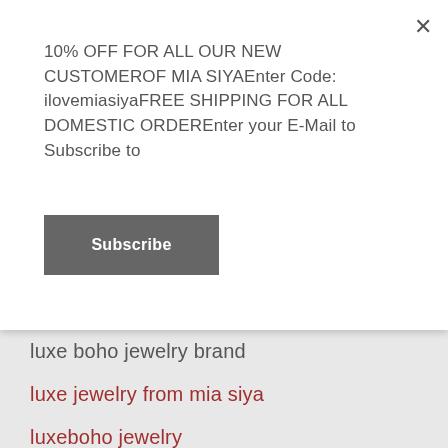10% OFF FOR ALL OUR NEW CUSTOMEROF MIA SIYAEnter Code: ilovemiasiyaFREE SHIPPING FOR ALL DOMESTIC ORDEREnter your E-Mail to Subscribe to
Subscribe
luxe boho jewelry brand
luxe jewelry from mia siya
luxeboho jewelry
made with love for mia siya
making of mia siya
meaning behind the name
merak necklace
mia siya 2018
mia siya blog